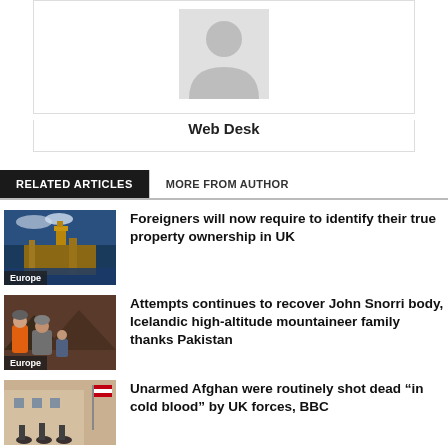[Figure (illustration): Author avatar placeholder - grey silhouette of a person]
Web Desk
RELATED ARTICLES   MORE FROM AUTHOR
[Figure (photo): Photo of Big Ben and Houses of Parliament in London at dusk with Europe label]
Foreigners will now require to identify their true property ownership in UK
[Figure (photo): Photo of a family in winter mountain gear with Europe label]
Attempts continues to recover John Snorri body, Icelandic high-altitude mountaineer family thanks Pakistan
[Figure (photo): Photo of Afghan soldiers with UK forces]
Unarmed Afghan were routinely shot dead “in cold blood” by UK forces, BBC